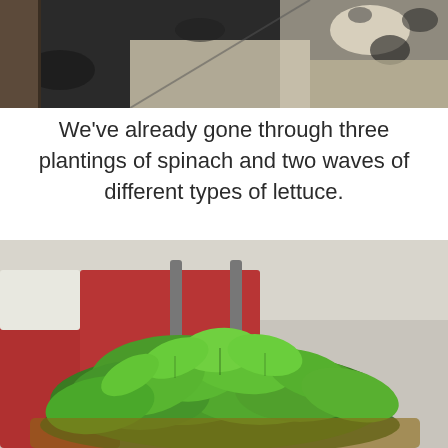[Figure (photo): Top portion of an outdoor photo showing dark asphalt/pavement and a light-colored surface, partial view of a spotted or patterned object in top right corner]
We've already gone through three plantings of spinach and two waves of different types of lettuce.
[Figure (photo): A basket overflowing with freshly harvested green spinach leaves on a patio, with red outdoor chair cushions visible in the background]